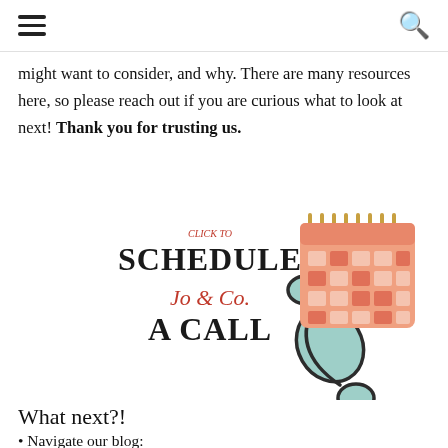☰  🔍
might want to consider, and why. There are many resources here, so please reach out if you are curious what to look at next! Thank you for trusting us.
[Figure (illustration): Click to Schedule a Call button graphic with Jo & Co logo, a telephone handset illustration in mint green, and a calendar illustration in salmon/peach color]
What next?!
• Navigate our blog:
https://byjoandco.com/categories-to-help-you-